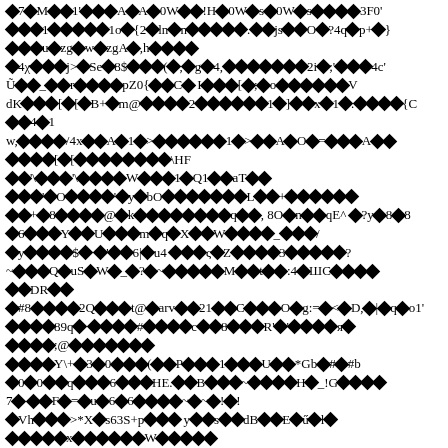Corrupted/encoded binary content displayed as mixed unicode replacement characters and ASCII text across multiple lines.